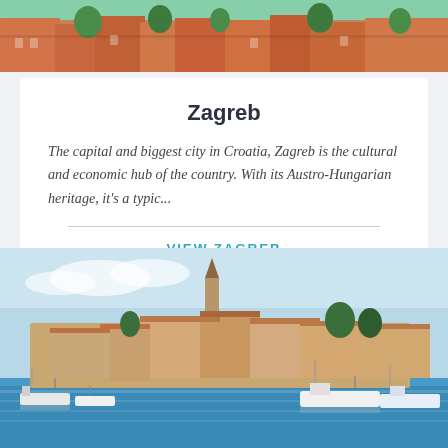[Figure (photo): Aerial view of a European city with orange-red tiled rooftops and green trees]
Zagreb
The capital and biggest city in Croatia, Zagreb is the cultural and economic hub of the country. With its Austro-Hungarian heritage, it's a typic...
VIEW ZAGREB
[Figure (photo): Coastal town of Rovinj, Croatia, with colorful buildings, a tall bell tower, and boats in the harbour under a blue sky]